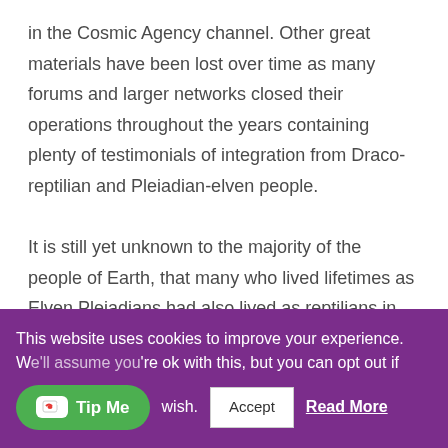in the Cosmic Agency channel. Other great materials have been lost over time as many forums and larger networks closed their operations throughout the years containing plenty of testimonials of integration from Draco-reptilian and Pleiadian-elven people.

It is still yet unknown to the majority of the people of Earth, that many who lived lifetimes as Elven Pleiadians had also lived as reptilians in other incarnations in several star systems, including the Draco constellation. This fact has its reasoning in the
This website uses cookies to improve your experience. We'll assume you're ok with this, but you can opt out if you wish.